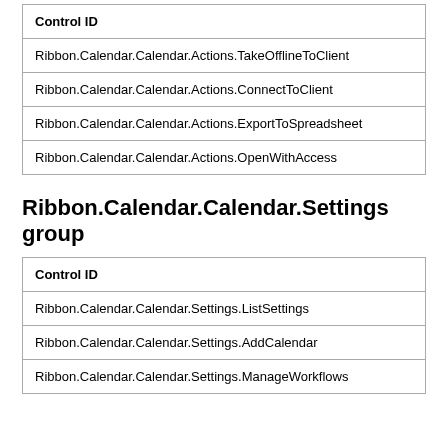| Control ID |
| --- |
| Ribbon.Calendar.Calendar.Actions.TakeOfflineToClient |
| Ribbon.Calendar.Calendar.Actions.ConnectToClient |
| Ribbon.Calendar.Calendar.Actions.ExportToSpreadsheet |
| Ribbon.Calendar.Calendar.Actions.OpenWithAccess |
Ribbon.Calendar.Calendar.Settings group
| Control ID |
| --- |
| Ribbon.Calendar.Calendar.Settings.ListSettings |
| Ribbon.Calendar.Calendar.Settings.AddCalendar |
| Ribbon.Calendar.Calendar.Settings.ManageWorkflows |